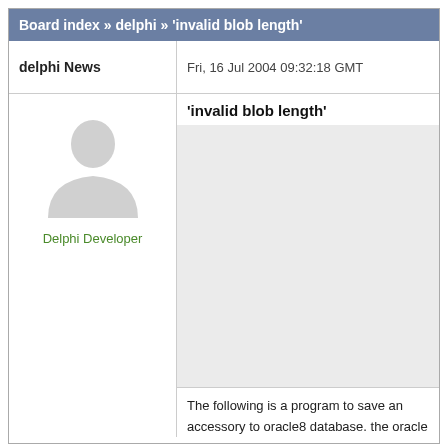Board index » delphi » 'invalid blob length'
delphi News
Fri, 16 Jul 2004 09:32:18 GMT
[Figure (illustration): Generic user avatar silhouette in light gray]
Delphi Developer
'invalid blob length'
The following is a program to save an accessory to oracle8 database. the oracle table field's data type is